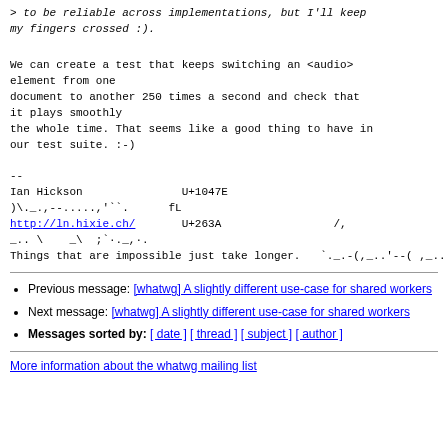> to be reliable across implementations, but I'll keep my fingers crossed :).
We can create a test that keeps switching an <audio> element from one
document to another 250 times a second and check that it plays smoothly
the whole time. That seems like a good thing to have in our test suite. :-)
--
Ian Hickson               U+1047E
)\._.,--.....,'``.
    fL
http://ln.hixie.ch/       U+263A                 /,
_..\    _\  ;`·._,·.
Things that are impossible just take longer.   `._.-
(,_..'--( ,_..''`-·;.'
Previous message: [whatwg] A slightly different use-case for shared workers
Next message: [whatwg] A slightly different use-case for shared workers
Messages sorted by: [ date ] [ thread ] [ subject ] [ author ]
More information about the whatwg mailing list